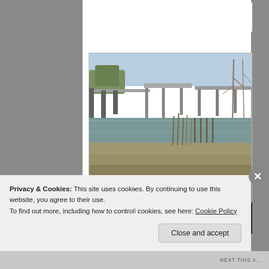Lunchtime... when you work hard, you've gotta relax hard!
[Figure (photo): Outdoor waterfront scene with docks, a small wooden structure, calm water, bare trees, and grassy foreground area]
[Figure (photo): Partially visible second photo showing dark indoor or structural scene]
Privacy & Cookies: This site uses cookies. By continuing to use this website, you agree to their use.
To find out more, including how to control cookies, see here: Cookie Policy
Close and accept